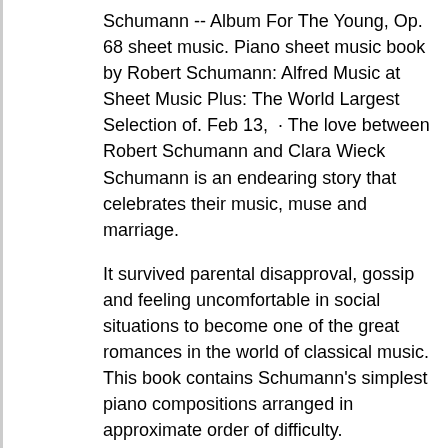Schumann -- Album For The Young, Op. 68 sheet music. Piano sheet music book by Robert Schumann: Alfred Music at Sheet Music Plus: The World Largest Selection of. Feb 13,  · The love between Robert Schumann and Clara Wieck Schumann is an endearing story that celebrates their music, muse and marriage.
It survived parental disapproval, gossip and feeling uncomfortable in social situations to become one of the great romances in the world of classical music. This book contains Schumann's simplest piano compositions arranged in approximate order of difficulty.
Fourteen selections are presented in the original forms, including the familiar "Traumerei," "Happy Farmer," "Melody" and "Cradle Song." Although brief, these musical miniatures are perfectly unified and highly original works in the Romantic.
Book Description: This absorbing and award-winning biography tells the story of the tragedies and triumphs of Clara Wieck Schumann (), a musician of remarkable achievements. At once artiste, one we edit, to play if we also the of